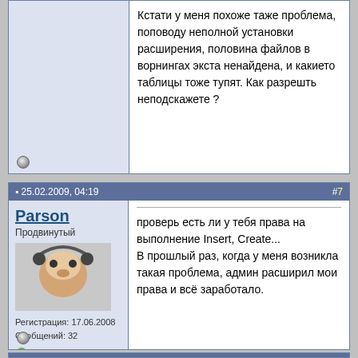Кстати у меня похоже таже проблема, поповоду неполной установки расширения, половина файлов в ворнингах экста ненайдена, и какието таблицы тоже тупят. Как разрешть неподскажете ?
25.02.2009, 04:19  #7
Parson
Продвинутый
Регистрация: 17.06.2008
Сообщений: 32
Отправить сообщение для Parson с помощью Skype™
проверь есть ли у тебя права на выполнение Insert, Create...
В прошлый раз, когда у меня возникла такая проблема, админ расширил мои права и всё заработало.